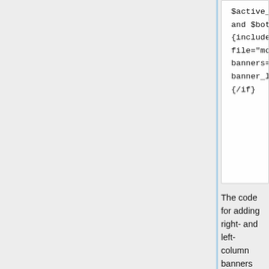[Figure (screenshot): Code block showing bottom banner template code: $active_modules.Banner_System and $bottom_banners ne ''}{include file="modules/Banner_System/bar... banners=$bottom_banners banner_location='B'}{/if}]
The code for adding right- and left-column banners can be found, respectively, in the files customer/left_bar.tpl and customer/right_bar.tpl:
Left column banners:
[Figure (screenshot): Code block showing left column banner template code: {if $active_modules.Banner_System and $left_banners ne ''}{include file="modules/Banner_System/bar... banners=$left_banners banner_location='L'}]